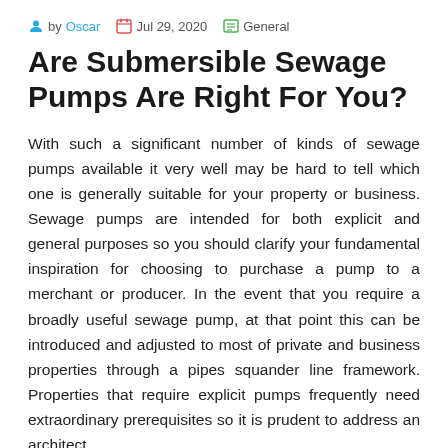by Oscar  Jul 29, 2020  General
Are Submersible Sewage Pumps Are Right For You?
With such a significant number of kinds of sewage pumps available it very well may be hard to tell which one is generally suitable for your property or business. Sewage pumps are intended for both explicit and general purposes so you should clarify your fundamental inspiration for choosing to purchase a pump to a merchant or producer. In the event that you require a broadly useful sewage pump, at that point this can be introduced and adjusted to most of private and business properties through a pipes squander line framework. Properties that require explicit pumps frequently need extraordinary prerequisites so it is prudent to address an architect